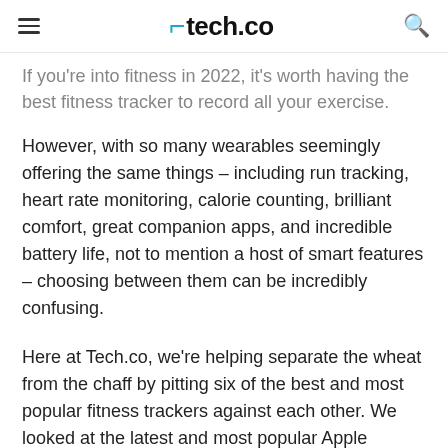tech.co
If you're into fitness in 2022, it's worth having the best fitness tracker to record all your exercise.
However, with so many wearables seemingly offering the same things – including run tracking, heart rate monitoring, calorie counting, brilliant comfort, great companion apps, and incredible battery life, not to mention a host of smart features – choosing between them can be incredibly confusing.
Here at Tech.co, we're helping separate the wheat from the chaff by pitting six of the best and most popular fitness trackers against each other. We looked at the latest and most popular Apple Watch, Polar's new